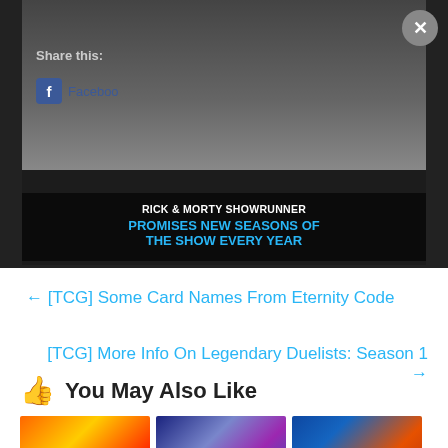[Figure (screenshot): Advertisement overlay with dark background showing Rick & Morty Showrunner text. Close button (X) in top-right corner. Text reads: RICK & MORTY SHOWRUNNER PROMISES NEW SEASONS OF THE SHOW EVERY YEAR]
Share this:
Facebook
← [TCG] Some Card Names From Eternity Code
[TCG] More Info On Legendary Duelists: Season 1 →
👍 You May Also Like
[Figure (illustration): Three thumbnail images at the bottom showing Yu-Gi-Oh card/anime related content: fire/energy themed, robot/mech themed, and card pack themed]